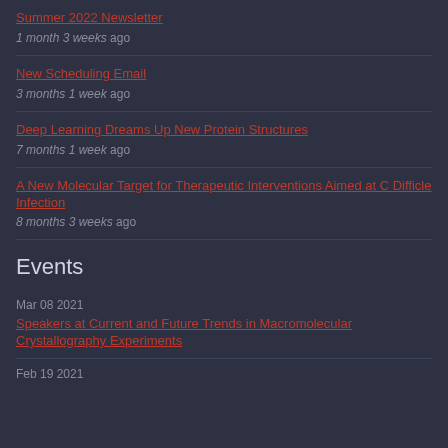Summer 2022 Newsletter
1 month 3 weeks ago
New Scheduling Email
3 months 1 week ago
Deep Learning Dreams Up New Protein Structures
7 months 1 week ago
A New Molecular Target for Therapeutic Interventions Aimed at C Difficle Infection
8 months 3 weeks ago
Events
Mar 08 2021
Speakers at Current and Future Trends in Macromolecular Crystallography Experiments
Feb 19 2021